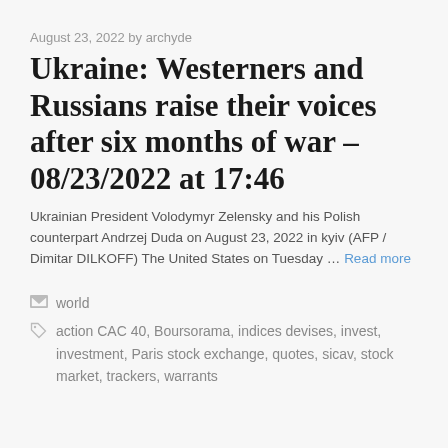August 23, 2022 by archyde
Ukraine: Westerners and Russians raise their voices after six months of war – 08/23/2022 at 17:46
Ukrainian President Volodymyr Zelensky and his Polish counterpart Andrzej Duda on August 23, 2022 in kyiv (AFP / Dimitar DILKOFF) The United States on Tuesday … Read more
world
action CAC 40, Boursorama, indices devises, invest, investment, Paris stock exchange, quotes, sicav, stock market, trackers, warrants